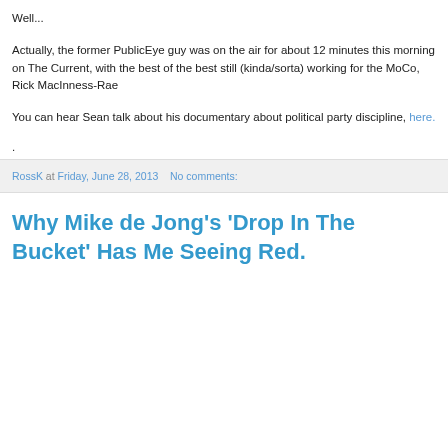Well...
Actually, the former PublicEye guy was on the air for about 12 minutes this morning on The Current, with the best of the best still (kinda/sorta) working for the MoCo, Rick MacInness-Rae
You can hear Sean talk about his documentary about political party discipline, here.
.
RossK at Friday, June 28, 2013   No comments:
Why Mike de Jong's 'Drop In The Bucket' Has Me Seeing Red.